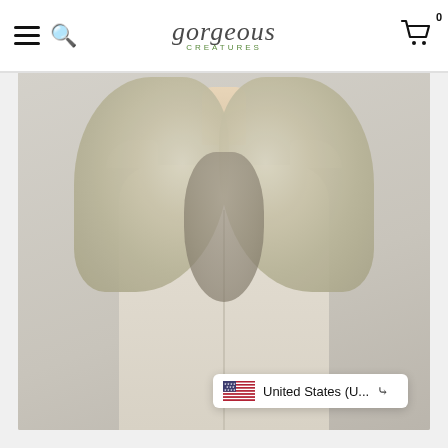gorgeous CREATURES - navigation bar with hamburger menu, search icon, logo, and cart icon with badge 0
[Figure (photo): Product photo of a mannequin wearing a beige/cream suede sleeveless vest with a large fluffy curly Mongolian lamb fur collar in a light sage/cream color, displayed on a light gray background]
United States (U...